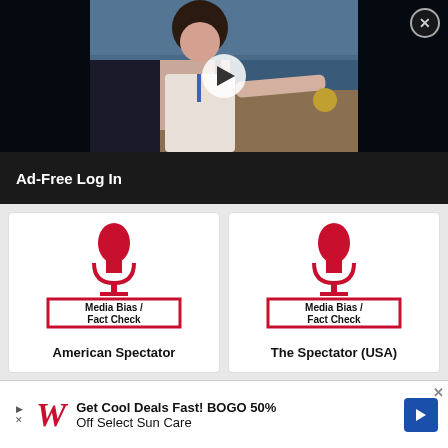[Figure (photo): Video thumbnail showing a woman at a podium/conference table with a play button overlay, dark background on left and right sides]
Ad-Free Log In
[Figure (logo): Media Bias / Fact Check logo with red microphone icon above a red-bordered box]
American Spectator
[Figure (logo): Media Bias / Fact Check logo with red microphone icon above a red-bordered box]
The Spectator (USA)
[Figure (logo): Partial Media Bias / Fact Check logo with red microphone icon, partially visible]
[Figure (logo): Partial Media Bias / Fact Check logo with red microphone icon, partially visible]
Get Cool Deals Fast! BOGO 50% Off Select Sun Care